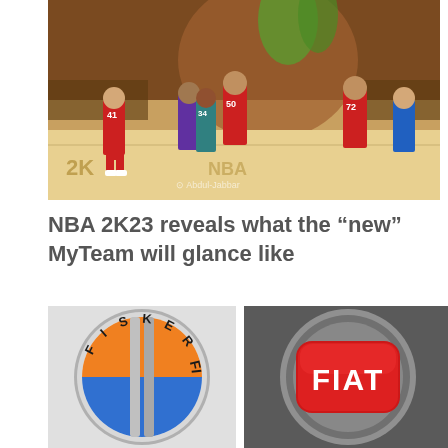[Figure (screenshot): NBA 2K23 video game screenshot showing basketball players on court, with 2K branding visible on the court floor. Players in red and blue uniforms. Watermark reads Abdul-Jabbar.]
NBA 2K23 reveals what the “new” MyTeam will glance like
[Figure (logo): Fisker automotive logo - circular badge with orange and blue quadrants separated by silver vertical bars, text FISKER around the top arc of the circle]
[Figure (logo): Fiat automotive logo - circular chrome badge with red rounded rectangle center containing white FIAT text]